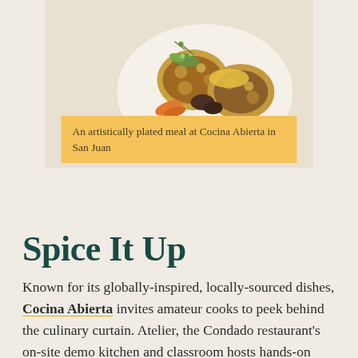[Figure (photo): An artistically plated meal at Cocina Abierta in San Juan — colorful dish with garnishes on a white plate]
An artistically plated meal at Cocina Abierta in San Juan
Spice It Up
Known for its globally-inspired, locally-sourced dishes, Cocina Abierta invites amateur cooks to peek behind the culinary curtain. Atelier, the Condado restaurant's on-site demo kitchen and classroom hosts hands-on experiences including cooking classes, mixology classes, wine tastings, and food tastings, all offering a glimpse into one of the